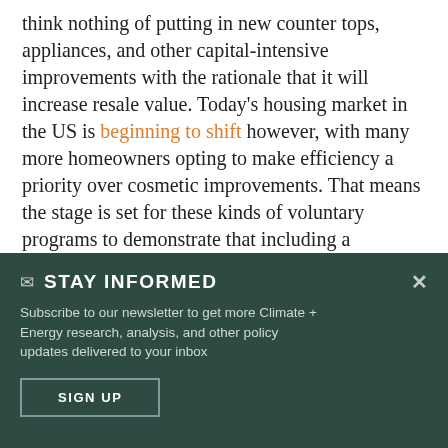think nothing of putting in new counter tops, appliances, and other capital-intensive improvements with the rationale that it will increase resale value. Today's housing market in the US is beginning to shift however, with many more homeowners opting to make efficiency a priority over cosmetic improvements. That means the stage is set for these kinds of voluntary programs to demonstrate that including a
✉ STAY INFORMED
Subscribe to our newsletter to get more Climate + Energy research, analysis, and other policy updates delivered to your inbox
SIGN UP